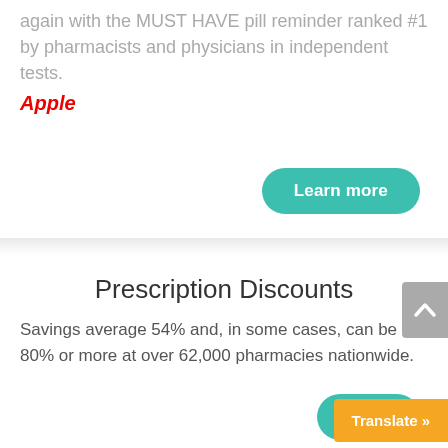again with the MUST HAVE pill reminder ranked #1 by pharmacists and physicians in independent tests.
Apple
Learn more
Prescription Discounts
Savings average 54% and, in some cases, can be 80% or more at over 62,000 pharmacies nationwide.
Learn
Translate »